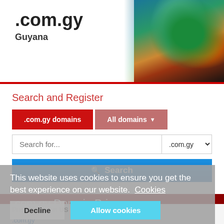[Figure (screenshot): Header banner with .com.gy domain name, Guyana country label, and a globe/world map face image on the right with gradient fade]
.com.gy
Guyana
Search and Register
.com.gy domains | All domains
Search for...  .com.gy
Search
.com.gy Domain Prices
This website uses cookies to ensure you get the best experience on our website.  Cookies
Decline   Allow cookies
Prices shown in US Dollars (USD)
.com.gy
| Period | Registration | Renewal |
| --- | --- | --- |
| 1 year | $51.50 | $55.00 |
Restrictions